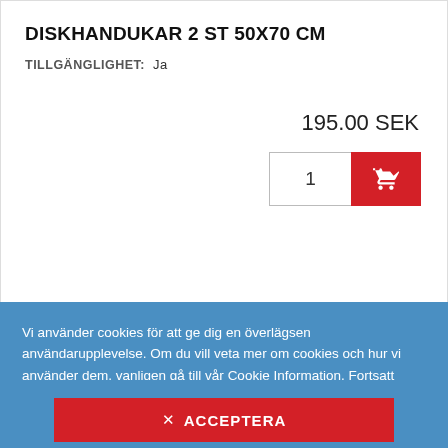DISKHANDUKAR 2 ST 50x70 CM
TILLGÄNGLIGHET: Ja
195.00 SEK
[Figure (screenshot): Quantity input field showing 1 and a red shopping cart button]
Vi använder cookies för att ge dig en överlägsen användarupplevelse. Om du vill veta mer om cookies och hur vi använder dem, vanligen gå till vår Cookie Information. Fortsatt navigation i siten innebär att du accepterar vår cookiepolicy.
✕ ACCEPTERA